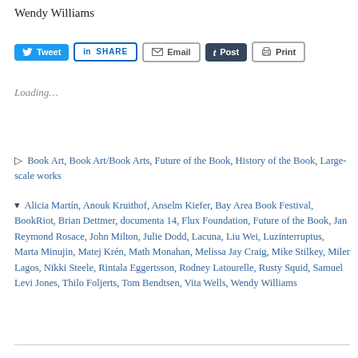Wendy Williams
Tweet | SHARE | Email | Post | Print
Loading...
Book Art, Book Art/Book Arts, Future of the Book, History of the Book, Large-scale works
Alicia Martín, Anouk Kruithof, Anselm Kiefer, Bay Area Book Festival, BookRiot, Brian Dettmer, documenta 14, Flux Foundation, Future of the Book, Jan Reymond Rosace, John Milton, Julie Dodd, Lacuna, Liu Wei, Luzinterruptus, Marta Minujin, Matej Krén, Math Monahan, Melissa Jay Craig, Mike Stilkey, Miler Lagos, Nikki Steele, Rintala Eggertsson, Rodney Latourelle, Rusty Squid, Samuel Levi Jones, Thilo Foljerts, Tom Bendtsen, Vita Wells, Wendy Williams